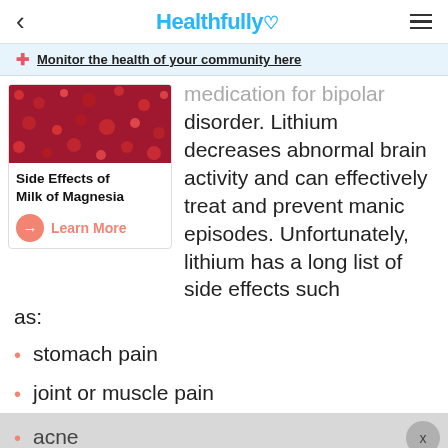Healthfully
Monitor the health of your community here
[Figure (photo): Photo of red/pink polka dot fabric or berries, used as thumbnail for Side Effects of Milk of Magnesia article]
Side Effects of Milk of Magnesia
Learn More
medication for bipolar disorder. Lithium decreases abnormal brain activity and can effectively treat and prevent manic episodes. Unfortunately, lithium has a long list of side effects such as:
stomach pain
joint or muscle pain
acne
hair loss